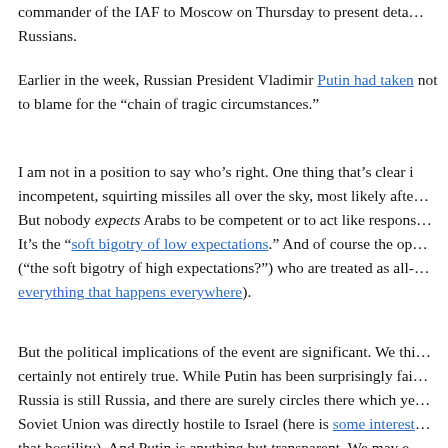commander of the IAF to Moscow on Thursday to present details to the Russians.
Earlier in the week, Russian President Vladimir Putin had taken not to blame for the "chain of tragic circumstances."
I am not in a position to say who's right. One thing that's clear is incompetent, squirting missiles all over the sky, most likely after. But nobody expects Arabs to be competent or to act like responsibly. It's the "soft bigotry of low expectations." And of course the opposite ("the soft bigotry of high expectations?") who are treated as all- everything that happens everywhere).
But the political implications of the event are significant. We think certainly not entirely true. While Putin has been surprisingly fair, Russia is still Russia, and there are surely circles there which yet Soviet Union was directly hostile to Israel (here is some interesting that hostility). And Putin is anything but transparent. We may end cannot assume that it will continue tomorrow.